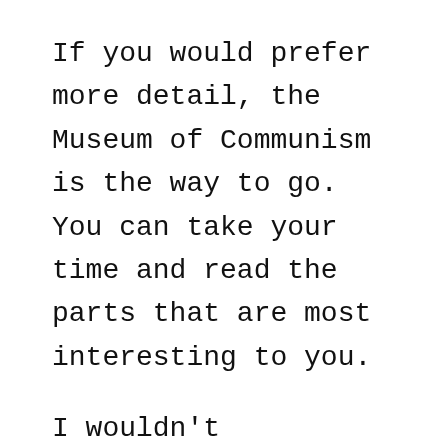If you would prefer more detail, the Museum of Communism is the way to go. You can take your time and read the parts that are most interesting to you.
I wouldn't particularly recommend the KGB Museum. The nuclear bunker has plenty of artifacts from the period, as does the Museum of Communism. Not only that, both of them focus much better on Prague under communism and Czechoslovakia as a whole, while the KGB Museum is more about the Soviet Union. The only real reason to visit the KGB Museum would be to see this particular